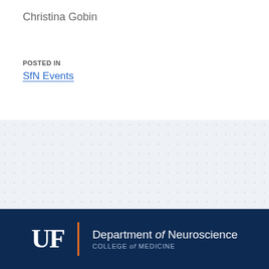Christina Gobin
POSTED IN
SfN Events
[Figure (other): Light gray decorative background section with dot/texture pattern]
UF | Department of Neuroscience COLLEGE of MEDICINE — DEPARTMENT FORMS